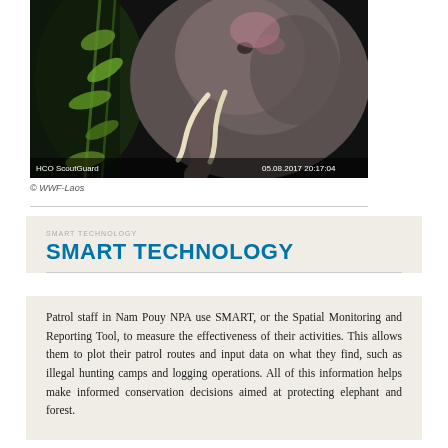[Figure (photo): Trail camera photo of an elephant at night. HCO ScoutGuard watermark on bottom left, timestamp 05.08.2017 20:17:04 on bottom right.]
© WWF-Laos
SMART TECHNOLOGY
Patrol staff in Nam Pouy NPA use SMART, or the Spatial Monitoring and Reporting Tool, to measure the effectiveness of their activities. This allows them to plot their patrol routes and input data on what they find, such as illegal hunting camps and logging operations. All of this information helps make informed conservation decisions aimed at protecting elephant and forest.